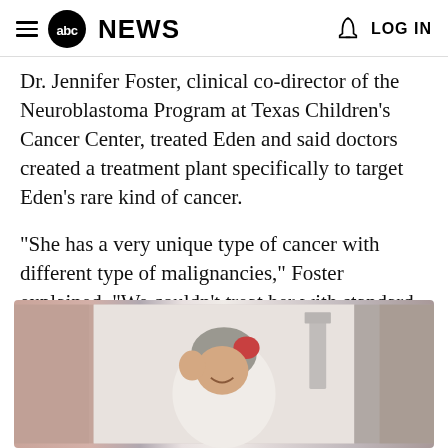abc NEWS   LOG IN
Dr. Jennifer Foster, clinical co-director of the Neuroblastoma Program at Texas Children's Cancer Center, treated Eden and said doctors created a treatment plant specifically to target Eden's rare kind of cancer.
"She has a very unique type of cancer with different type of malignancies," Foster explained. "We couldn't treat her with standard therapy."
[Figure (photo): A young child wearing a grey knit beanie hat and white jacket, smiling and making a fist-pump gesture, appearing to be in a hospital or medical setting with equipment visible in the background.]